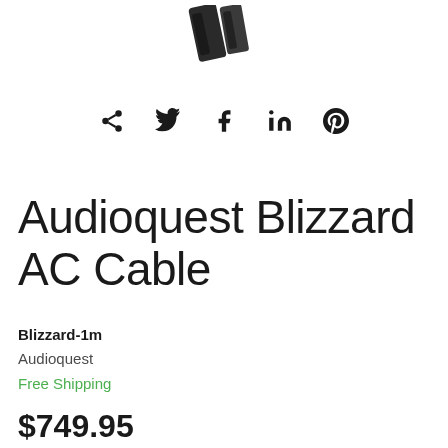[Figure (photo): Partial top view of Audioquest Blizzard AC Cable product photo, showing dark cable ends against white background]
[Figure (infographic): Social sharing icons row: share, Twitter bird, Facebook f, LinkedIn in, Pinterest p]
Audioquest Blizzard AC Cable
Blizzard-1m
Audioquest
Free Shipping
$749.95